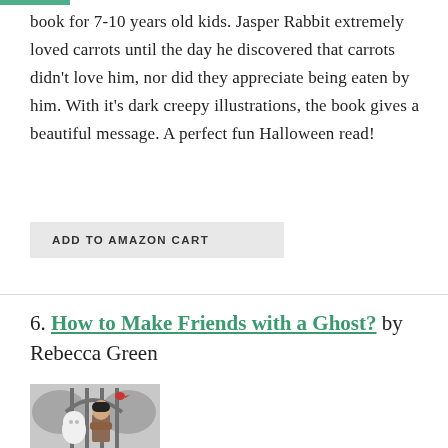book for 7-10 years old kids. Jasper Rabbit extremely loved carrots until the day he discovered that carrots didn't love him, nor did they appreciate being eaten by him. With it's dark creepy illustrations, the book gives a beautiful message. A perfect fun Halloween read!
ADD TO AMAZON CART
6. How to Make Friends with a Ghost? by Rebecca Green
[Figure (illustration): Book cover illustration showing a ghost and a child with dark hair and a scarf standing behind iron gate bars, with large grey wings in the background and a small red bird.]